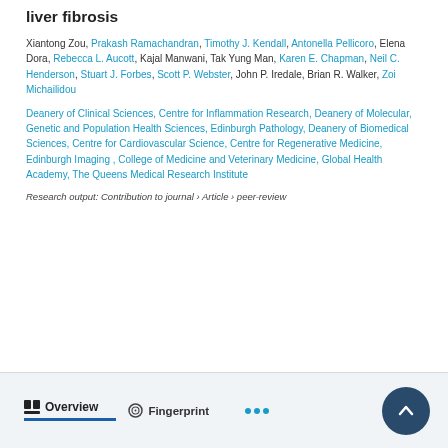liver fibrosis
Xiantong Zou, Prakash Ramachandran, Timothy J. Kendall, Antonella Pellicoro, Elena Dora, Rebecca L. Aucott, Kajal Manwani, Tak Yung Man, Karen E. Chapman, Neil C. Henderson, Stuart J. Forbes, Scott P. Webster, John P. Iredale, Brian R. Walker, Zoi Michailidou
Deanery of Clinical Sciences, Centre for Inflammation Research, Deanery of Molecular, Genetic and Population Health Sciences, Edinburgh Pathology, Deanery of Biomedical Sciences, Centre for Cardiovascular Science, Centre for Regenerative Medicine, Edinburgh Imaging , College of Medicine and Veterinary Medicine, Global Health Academy, The Queens Medical Research Institute
Research output: Contribution to journal › Article › peer-review
Overview   Fingerprint   •••